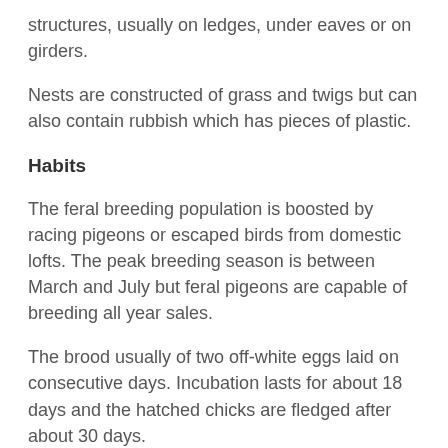structures, usually on ledges, under eaves or on girders.
Nests are constructed of grass and twigs but can also contain rubbish which has pieces of plastic.
Habits
The feral breeding population is boosted by racing pigeons or escaped birds from domestic lofts. The peak breeding season is between March and July but feral pigeons are capable of breeding all year sales.
The brood usually of two off-white eggs laid on consecutive days. Incubation lasts for about 18 days and the hatched chicks are fledged after about 30 days.
Surprisingly, another clutch can be laid when the young are only 20 days old. This means that up to nine broods can be produced per pair per year.
Feral pigeons tend to scavenge food, often at food